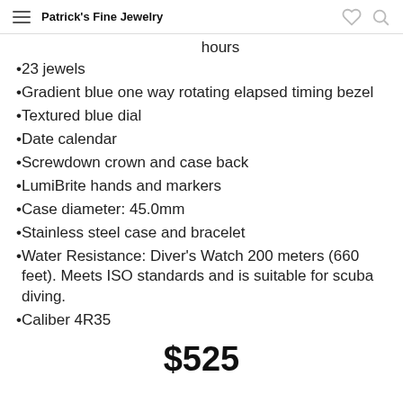Patrick's Fine Jewelry
hours
23 jewels
Gradient blue one way rotating elapsed timing bezel
Textured blue dial
Date calendar
Screwdown crown and case back
LumiBrite hands and markers
Case diameter: 45.0mm
Stainless steel case and bracelet
Water Resistance: Diver's Watch 200 meters (660 feet). Meets ISO standards and is suitable for scuba diving.
Caliber 4R35
$525